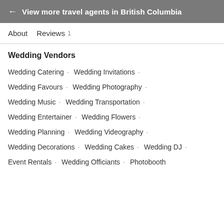← View more travel agents in British Columbia
About   Reviews 1
Wedding Vendors
Wedding Catering · Wedding Invitations ·
Wedding Favours · Wedding Photography ·
Wedding Music · Wedding Transportation ·
Wedding Entertainer · Wedding Flowers ·
Wedding Planning · Wedding Videography ·
Wedding Decorations · Wedding Cakes · Wedding DJ ·
Event Rentals · Wedding Officiants · Photobooth